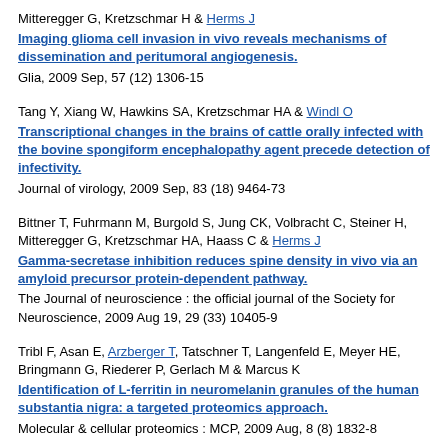Mitteregger G, Kretzschmar H & Herms J
Imaging glioma cell invasion in vivo reveals mechanisms of dissemination and peritumoral angiogenesis.
Glia, 2009 Sep, 57 (12) 1306-15
Tang Y, Xiang W, Hawkins SA, Kretzschmar HA & Windl O
Transcriptional changes in the brains of cattle orally infected with the bovine spongiform encephalopathy agent precede detection of infectivity.
Journal of virology, 2009 Sep, 83 (18) 9464-73
Bittner T, Fuhrmann M, Burgold S, Jung CK, Volbracht C, Steiner H, Mitteregger G, Kretzschmar HA, Haass C & Herms J
Gamma-secretase inhibition reduces spine density in vivo via an amyloid precursor protein-dependent pathway.
The Journal of neuroscience : the official journal of the Society for Neuroscience, 2009 Aug 19, 29 (33) 10405-9
Tribl F, Asan E, Arzberger T, Tatschner T, Langenfeld E, Meyer HE, Bringmann G, Riederer P, Gerlach M & Marcus K
Identification of L-ferritin in neuromelanin granules of the human substantia nigra: a targeted proteomics approach.
Molecular & cellular proteomics : MCP, 2009 Aug, 8 (8) 1832-8
Opbark C, Doering M, Peters N, Karpinska A, Posner S, Schneider F, Reder...